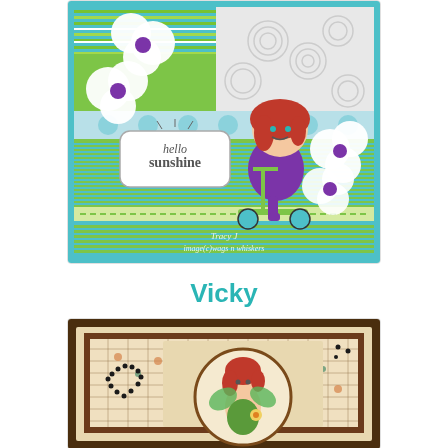[Figure (photo): Handmade craft card featuring a cartoon girl with red hair riding a green scooter, wearing purple dress and boots. Background has teal/green stripes and white swirl pattern. White paper flowers with purple centers decorate the card. A label reads 'hello sunshine'. Watermark text: 'Tracy J' and 'image(c)wags n whiskers'.]
Vicky
[Figure (photo): Handmade craft card with brown and cream layered matting on a dark brown background. Features a circular frame containing a fairy/pixie character with red hair and green wings. The background paper has a floral pattern with small orange and teal flowers and a brown plaid/lattice overlay. Black rhinestone dots scattered on the left.]